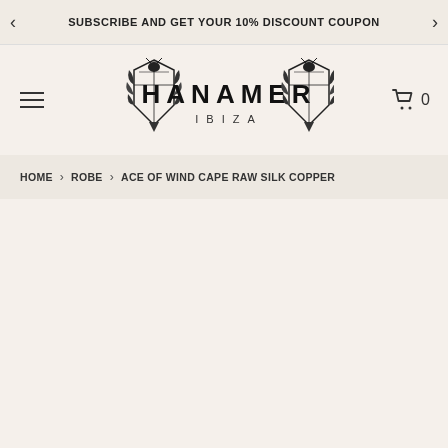SUBSCRIBE AND GET YOUR 10% DISCOUNT COUPON
[Figure (logo): HANAMER IBIZA brand logo with decorative insect/scarab motif on left and right sides of the text]
HOME > ROBE > ACE OF WIND CAPE RAW SILK COPPER